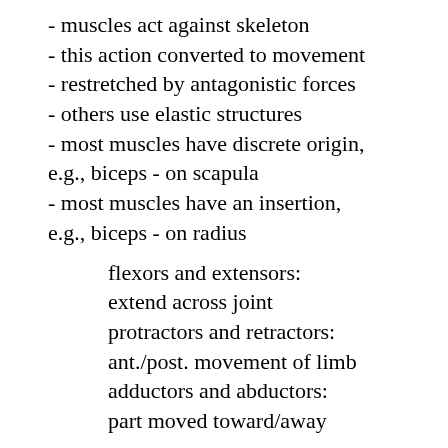- muscles act against skeleton
- this action converted to movement
- restretched by antagonistic forces
- others use elastic structures
- most muscles have discrete origin, e.g., biceps - on scapula
- most muscles have an insertion, e.g., biceps - on radius
flexors and extensors:
extend across joint
protractors and retractors:
ant./post. movement of limb
adductors and abductors:
part moved toward/away
- other muscles interlaced, e.g., snail